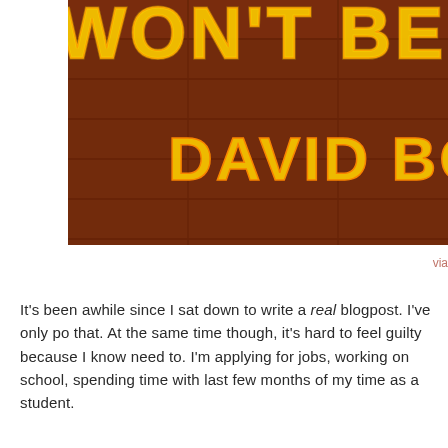[Figure (photo): Photo of a neon sign reading 'WON'T BE' and 'DAVID BO' in yellow/orange neon letters mounted on a dark wooden plank wall illuminated with red/orange glow.]
via
It's been awhile since I sat down to write a real blogpost. I've only po that. At the same time though, it's hard to feel guilty because I know need to. I'm applying for jobs, working on school, spending time with last few months of my time as a student.